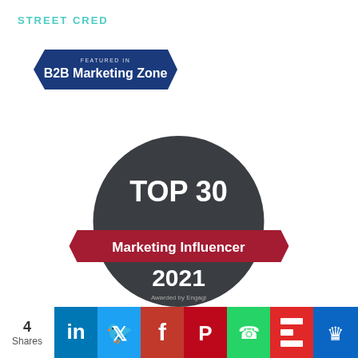STREET CRED
[Figure (logo): B2B Marketing Zone featured badge - blue arrow shape with 'FEATURED IN' text above 'B2B Marketing Zone' in white on dark blue background]
[Figure (illustration): Top 30 Marketing Influencer 2021 award badge - dark circular badge with laurel wreath, white text 'TOP 30', red ribbon banner with 'Marketing Influencer', year 2021 and 'Awarded by Engagi' text]
4 Shares
[Figure (infographic): Social sharing bar with LinkedIn, Twitter, Facebook, Pinterest, WhatsApp, Flipboard, and Crown icons]